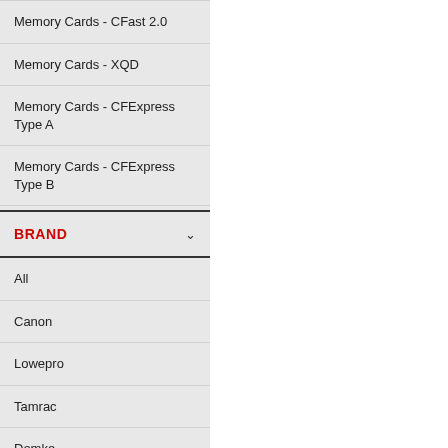Memory Cards - CFast 2.0
Memory Cards - XQD
Memory Cards - CFExpress Type A
Memory Cards - CFExpress Type B
BRAND
All
Canon
Lowepro
Tamrac
Domke